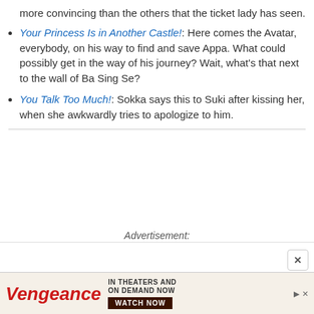more convincing than the others that the ticket lady has seen.
Your Princess Is in Another Castle!: Here comes the Avatar, everybody, on his way to find and save Appa. What could possibly get in the way of his journey? Wait, what's that next to the wall of Ba Sing Se?
You Talk Too Much!: Sokka says this to Suki after kissing her, when she awkwardly tries to apologize to him.
Advertisement:
[Figure (advertisement): Vengeance movie advertisement banner: 'IN THEATERS AND ON DEMAND NOW — WATCH NOW']